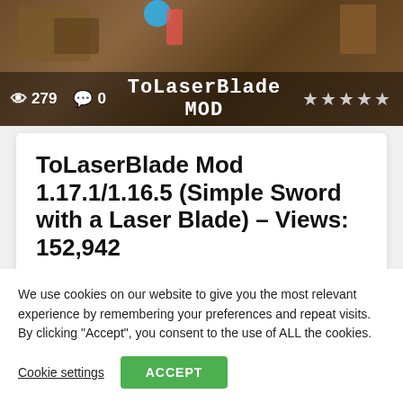[Figure (screenshot): Minecraft game screenshot banner showing wooden chest environment with overlay stats: 279 views, 0 comments, star rating, and 'ToLaserBlade MOD' title text]
ToLaserBlade Mod 1.17.1/1.16.5 (Simple Sword with a Laser Blade) – Views: 152,942
Download ToLaserBlade Mod 1.17.1/1.16.5 (Simple Sword with a Laser Blade) - Views: 152,942 - Awesome! Credit & Author: Iunius118 - Views: 152,942 ToLaserBlade Mod 1.17.1/1.16.5 adds a simple sword with a...
We use cookies on our website to give you the most relevant experience by remembering your preferences and repeat visits. By clicking "Accept", you consent to the use of ALL the cookies.
Cookie settings
ACCEPT